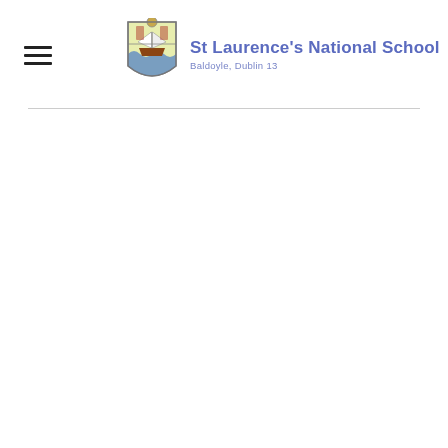St Laurence's National School, Baldoyle, Dublin 13
[Figure (logo): St Laurence's National School crest/coat of arms logo with a ship and waves motif]
St Laurence's National School
Baldoyle, Dublin 13